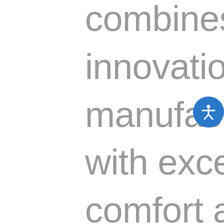combines superior innovation and manufacturing quality with exceptional comfort and maintenance-free enjoyment. We've got it all covered for you. From the durability of our premium pedestal base, to the strength of our industry-leading cabinet system, to our innovative Dura-Shield Hardcover with Lift Assist, being a DuraSport Series owner is easy, fun, and relaxing